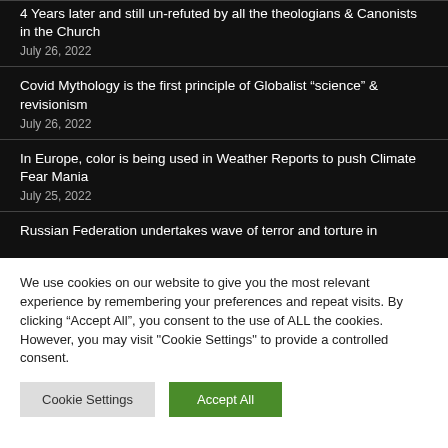4 Years later and still un-refuted by all the theologians & Canonists in the Church
July 26, 2022
Covid Mythology is the first principle of Globalist “science” & revisionism
July 26, 2022
In Europe, color is being used in Weather Reports to push Climate Fear Mania
July 25, 2022
Russian Federation undertakes wave of terror and torture in
We use cookies on our website to give you the most relevant experience by remembering your preferences and repeat visits. By clicking “Accept All”, you consent to the use of ALL the cookies. However, you may visit "Cookie Settings" to provide a controlled consent.
Cookie Settings | Accept All